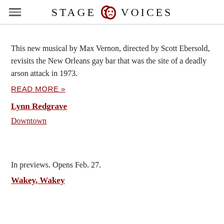STAGE VOICES
This new musical by Max Vernon, directed by Scott Ebersold, revisits the New Orleans gay bar that was the site of a deadly arson attack in 1973.
READ MORE »
Lynn Redgrave
Downtown
In previews. Opens Feb. 27.
Wakey, Wakey